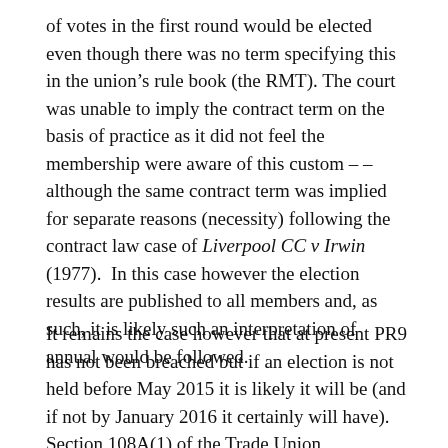of votes in the first round would be elected even though there was no term specifying this in the union's rule book (the RMT). The court was unable to imply the contract term on the basis of practice as it did not feel the membership were aware of this custom – – although the same contract term was implied for separate reasons (necessity) following the contract law case of Liverpool CC v Irwin (1977). In this case however the election results are published to all members and, as such, it is likely such an interpretation of annual would be followed.
It remains the case however that at present PR9 has not been breached but if an election is not held before May 2015 it is likely it will be (and if not by January 2016 it certainly will have). Section 108A(1) of the Trade Union